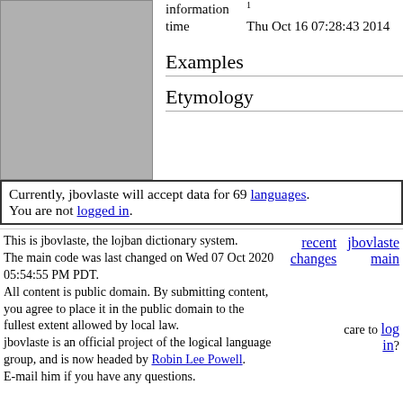[Figure (other): Gray placeholder image box on the left side of the top section]
information 1
time    Thu Oct 16 07:28:43 2014
Examples
Etymology
Currently, jbovlaste will accept data for 69 languages.
You are not logged in.
recent changes    jbovlaste main
This is jbovlaste, the lojban dictionary system.
The main code was last changed on Wed 07 Oct 2020 05:54:55 PM PDT.
All content is public domain. By submitting content, you agree to place it in the public domain to the fullest extent allowed by local law.
jbovlaste is an official project of the logical language group, and is now headed by Robin Lee Powell.
E-mail him if you have any questions.
care to log in?